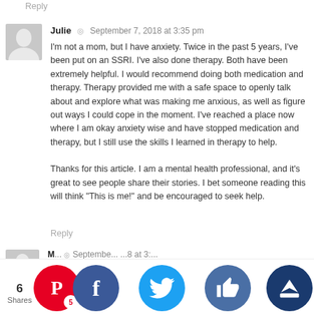know that you are not alone.
Reply
Julie · September 7, 2018 at 3:35 pm
I'm not a mom, but I have anxiety. Twice in the past 5 years, I've been put on an SSRI. I've also done therapy. Both have been extremely helpful. I would recommend doing both medication and therapy. Therapy provided me with a safe space to openly talk about and explore what was making me anxious, as well as figure out ways I could cope in the moment. I've reached a place now where I am okay anxiety wise and have stopped medication and therapy, but I still use the skills I learned in therapy to help.

Thanks for this article. I am a mental health professional, and it's great to see people share their stories. I bet someone reading this will think "This is me!" and be encouraged to seek help.
Reply
M... · September ...8 at 3:...
T... u for s... his sto... n thre... and ca...
6 Shares